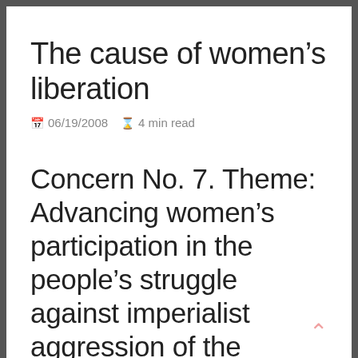The cause of women's liberation
06/19/2008   4 min read
Concern No. 7. Theme: Advancing women's participation in the people's struggle against imperialist aggression of the world's food and resources